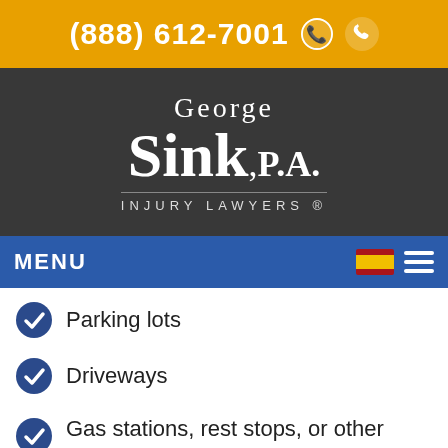(888) 612-7001
[Figure (logo): George Sink, P.A. Injury Lawyers logo in white text on dark gray background]
MENU
Parking lots
Driveways
Gas stations, rest stops, or other roadside locations
When Fault For a Backing-